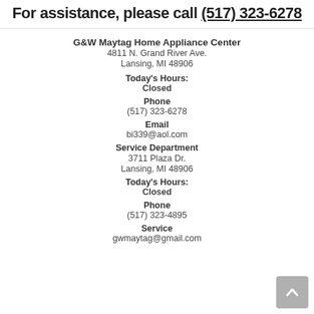For assistance, please call (517) 323-6278
G&W Maytag Home Appliance Center
4811 N. Grand River Ave.
Lansing, MI 48906
Today's Hours:
Closed
Phone
(517) 323-6278
Email
bi339@aol.com
Service Department
3711 Plaza Dr.
Lansing, MI 48906
Today's Hours:
Closed
Phone
(517) 323-4895
Service
gwmaytag@gmail.com